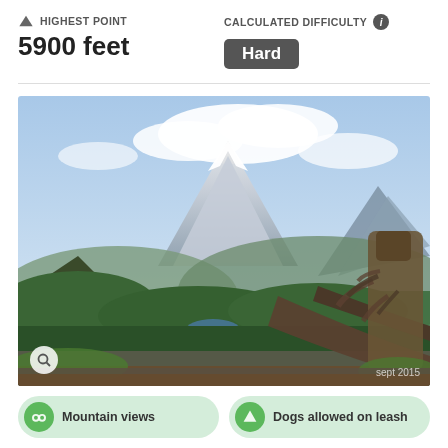HIGHEST POINT
5900 feet
CALCULATED DIFFICULTY
Hard
[Figure (photo): Scenic mountain landscape view showing a large snow-capped volcanic peak (likely Mt. St. Helens area) in the background with forested hills, a small lake in the valley, and a large weathered driftwood log stump in the foreground right. Blue sky with white clouds. Watermark reads 'sept 2015'.]
Mountain views
Dogs allowed on leash